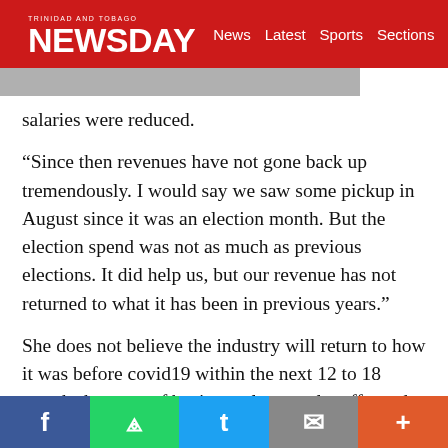TRINIDAD AND TOBAGO NEWSDAY — News Latest Sports Sections
salaries were reduced.
“Since then revenues have not gone back up tremendously. I would say we saw some pickup in August since it was an election month. But the election spend was not as much as previous elections. It did help us, but our revenue has not returned to what it has been in previous years.”
She does not believe the industry will return to how it was before covid19 within the next 12 to 18 months because of business closures, layoffs, and operational changes by business owners due
Facebook | WhatsApp | Twitter | Email | More